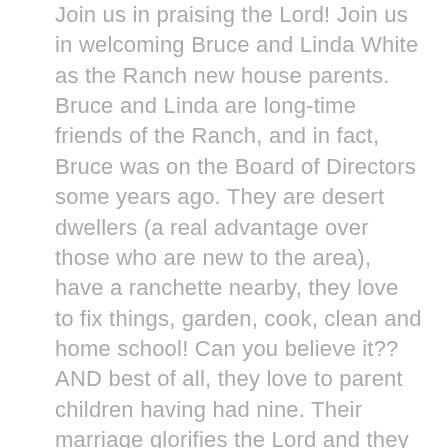Join us in praising the Lord! Join us in welcoming Bruce and Linda White as the Ranch new house parents. Bruce and Linda are long-time friends of the Ranch, and in fact, Bruce was on the Board of Directors some years ago. They are desert dwellers (a real advantage over those who are new to the area), have a ranchette nearby, they love to fix things, garden, cook, clean and home school! Can you believe it?? AND best of all, they love to parent children having had nine. Their marriage glorifies the Lord and they work as a perfect fitted team ... in unison and decision making. Their relationship is strong and will put the incoming traumatized children at ease immediately.